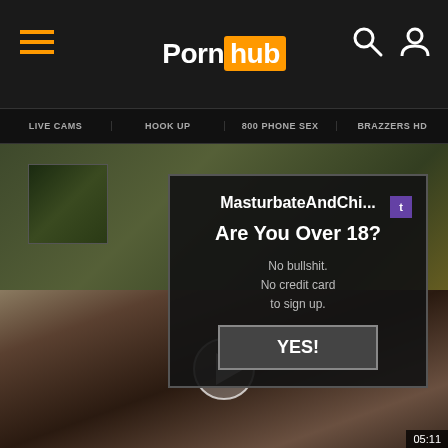Pornhub
LIVE CAMS | HOOK UP | 800 PHONE SEX | BRAZZERS HD
[Figure (screenshot): Age verification popup overlay on adult website with text 'MasturbateAndChi...' and 'Are You Over 18?' with YES! button, on top of a video thumbnail]
[Figure (screenshot): Video thumbnail showing BDSM-themed video content with play button overlay and duration badge showing 05:11]